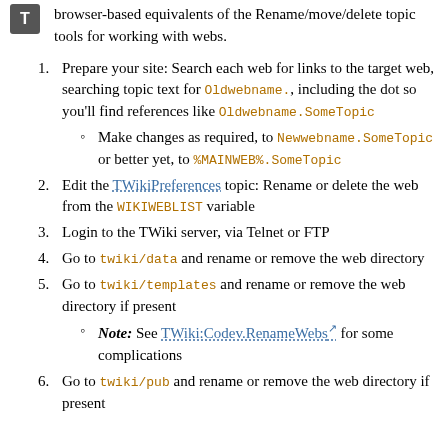browser-based equivalents of the Rename/move/delete topic tools for working with webs.
1. Prepare your site: Search each web for links to the target web, searching topic text for Oldwebname., including the dot so you'll find references like Oldwebname.SomeTopic
  - Make changes as required, to Newwebname.SomeTopic or better yet, to %MAINWEB%.SomeTopic
2. Edit the TWikiPreferences topic: Rename or delete the web from the WIKIWEBLIST variable
3. Login to the TWiki server, via Telnet or FTP
4. Go to twiki/data and rename or remove the web directory
5. Go to twiki/templates and rename or remove the web directory if present
  - Note: See TWiki:Codev.RenameWebs for some complications
6. Go to twiki/pub and rename or remove the web directory if present